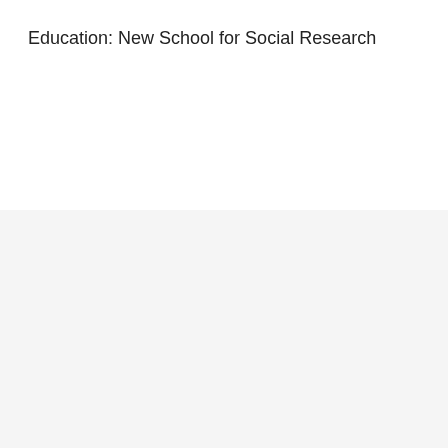Education: New School for Social Research
[Figure (logo): John Simon Guggenheim Memorial Foundation watermark logo, faded pink/grey, with circular emblem on left, 'John Simon' in italic script above, 'Guggenheim' in large bold text, 'Memorial Foundation' in italic script below]
[Figure (screenshot): Hamburger menu button icon (three horizontal lines) on a light grey rounded rectangle background]
The John Simon Guggenheim Memorial Foundation offers fellowships to exceptional individuals in pursuit of scholarship in any field of knowledge and creation in any art form, under the